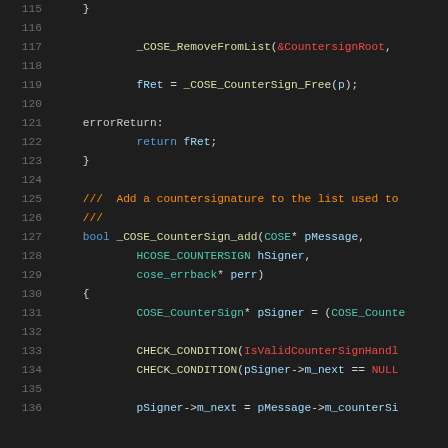Code listing lines 115-136, C source code for COSE countersign functions
115: }
116: (empty)
117:     _COSE_RemoveFromList(&CountersignRoot, ...
118: (empty)
119:     fRet = _COSE_CounterSign_Free(p);
120: (empty)
121: errorReturn:
122:     return fRet;
123: }
124: (empty)
125: ///  Add a countersignature to the list used to
126: ///
127: bool _COSE_CounterSign_add(COSE* pMessage,
128:     HCOSE_COUNTERSIGN hSigner,
129:     cose_errback* perr)
130: {
131:     COSE_CounterSign* pSigner = (COSE_Counte...
132: (empty)
133:     CHECK_CONDITION(IsValidCounterSignHandl...
134:     CHECK_CONDITION(pSigner->m_next == NULL...
135: (empty)
136:     pSigner->m_next = pMessage->m_counterSi...